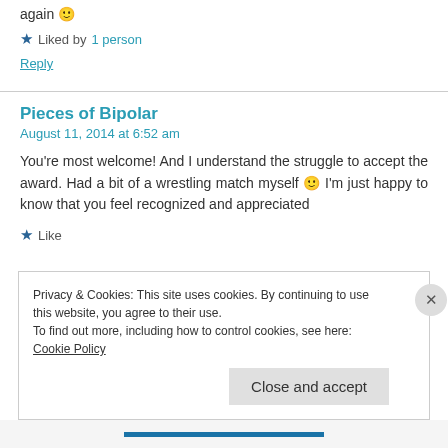again 🙂
★ Liked by 1 person
Reply
Pieces of Bipolar
August 11, 2014 at 6:52 am
You're most welcome! And I understand the struggle to accept the award. Had a bit of a wrestling match myself 🙂 I'm just happy to know that you feel recognized and appreciated
★ Like
Privacy & Cookies: This site uses cookies. By continuing to use this website, you agree to their use.
To find out more, including how to control cookies, see here: Cookie Policy
Close and accept